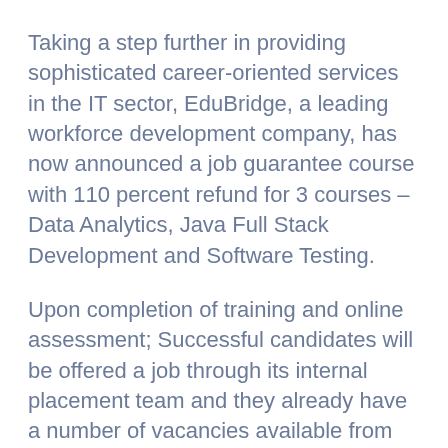Taking a step further in providing sophisticated career-oriented services in the IT sector, EduBridge, a leading workforce development company, has now announced a job guarantee course with 110 percent refund for 3 courses – Data Analytics, Java Full Stack Development and Software Testing.
Upon completion of training and online assessment; Successful candidates will be offered a job through its internal placement team and they already have a number of vacancies available from reputable employers such as Capgemini, Accenture, ZS Associates, etc. These courses will fill the much needed gap in formalities. The education sector and industry by providing job-ready skills. Following is a description of the skills offered through this 100